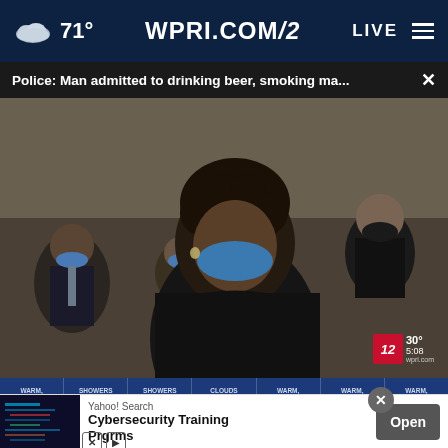71° WPRI.COM/12 LIVE
Police: Man admitted to drinking beer, smoking ma... ×
[Figure (photo): Courtroom scene showing a young man with curly hair wearing a blue face mask and black hoodie, head bowed down, surrounded by people in masks in the background. A WPRI 12 watermark is visible in the lower right showing 30° and 5:08.]
WARM, HUMID 10% 84 | SHOWERS LIKELY 70% 75 | SHOWERS LIKELY 60% 80 | CLOUDS TO SUN 20% 85 | WARM, HUMID 10% 85 | WARM, HUMID 15% 87 | WARM, HUMID 84
Yahoo! Search Cybersecurity Training Prgrms Open